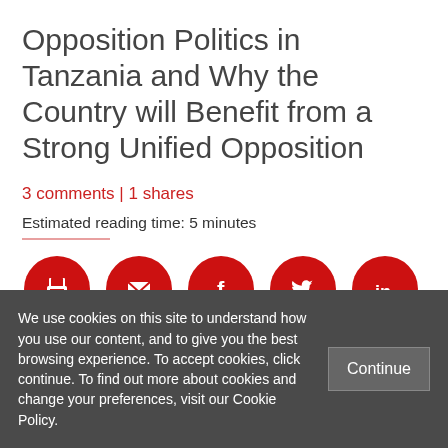Opposition Politics in Tanzania and Why the Country will Benefit from a Strong Unified Opposition
3 comments | 1 shares
Estimated reading time: 5 minutes
[Figure (infographic): Row of 5 red circular social sharing icons: print, email, Facebook, Twitter, LinkedIn]
We use cookies on this site to understand how you use our content, and to give you the best browsing experience. To accept cookies, click continue. To find out more about cookies and change your preferences, visit our Cookie Policy.